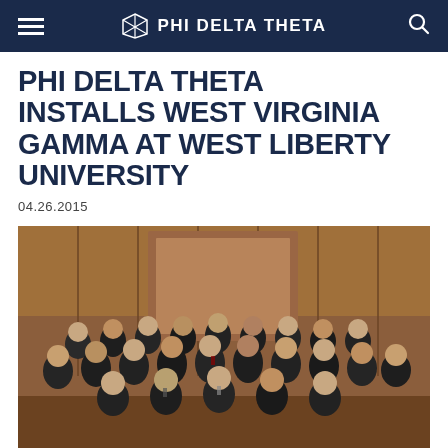PHI DELTA THETA
PHI DELTA THETA INSTALLS WEST VIRGINIA GAMMA AT WEST LIBERTY UNIVERSITY
04.26.2015
[Figure (photo): Group photo of Phi Delta Theta fraternity members dressed in suits and ties, posed in rows inside a wood-paneled room with pews, taken at the installation ceremony at West Liberty University.]